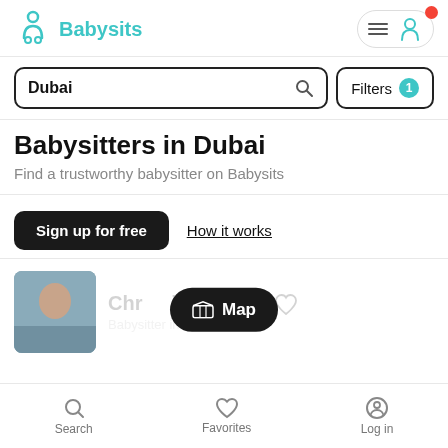[Figure (logo): Babysits logo with teal icon and teal text]
Dubai
Filters 1
Babysitters in Dubai
Find a trustworthy babysitter on Babysits
Sign up for free
How it works
Map
Chr...ille · 24
Babysitter in Dubai
Search    Favorites    Log in